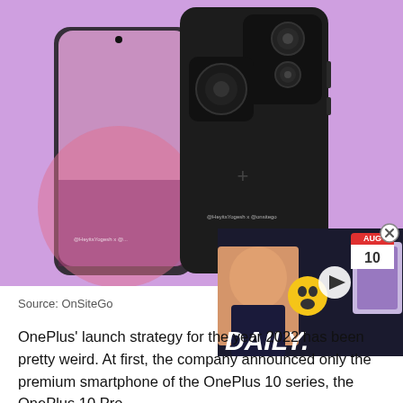[Figure (photo): OnePlus 10 Pro smartphone render showing front and back views against a purple/lavender background. The back shows a large rectangular camera module with multiple lenses. Watermark reads '@HeyitsYogesh x @onsitego'.]
[Figure (screenshot): Video thumbnail showing a man with a surprised emoji, Samsung Galaxy Z Fold devices, text 'DAILY.' in bold white letters, and a red calendar showing 'AUG 10'. Play button visible in center.]
Source: OnSiteGo
OnePlus' launch strategy for the year 2022 has been pretty weird. At first, the company announced only the premium smartphone of the OnePlus 10 series, the OnePlus 10 Pro